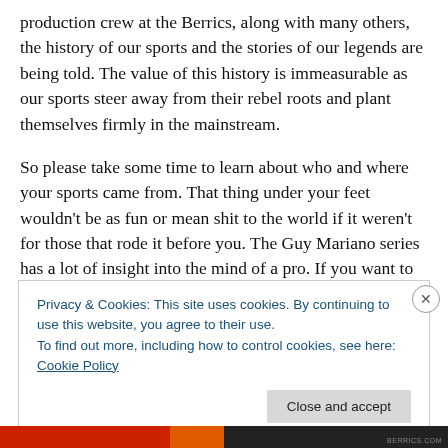production crew at the Berrics, along with many others, the history of our sports and the stories of our legends are being told. The value of this history is immeasurable as our sports steer away from their rebel roots and plant themselves firmly in the mainstream.
So please take some time to learn about who and where your sports came from. That thing under your feet wouldn't be as fun or mean shit to the world if it weren't for those that rode it before you. The Guy Mariano series has a lot of insight into the mind of a pro. If you want to know what
Privacy & Cookies: This site uses cookies. By continuing to use this website, you agree to their use.
To find out more, including how to control cookies, see here: Cookie Policy